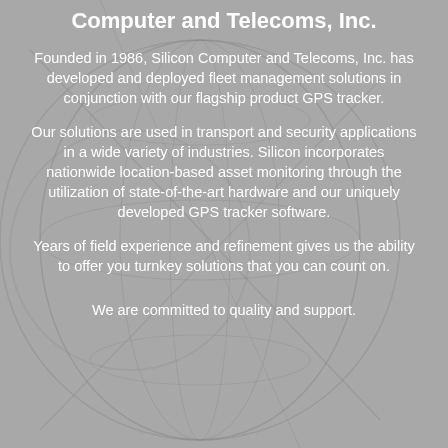[Figure (illustration): Gray background with faint globe/network line art illustration]
Computer and Telecoms, Inc.
Founded in 1986, Silicon Computer and Telecoms, Inc. has developed and deployed fleet management solutions in conjunction with our flagship product GPS tracker.
Our solutions are used in transport and security applications in a wide variety of industries. Silicon incorporates nationwide location-based asset monitoring through the utilization of state-of-the-art hardware and our uniquely developed GPS tracker software.
Years of field experience and refinement gives us the ability to offer you turnkey solutions that you can count on.
We are committed to quality and support.